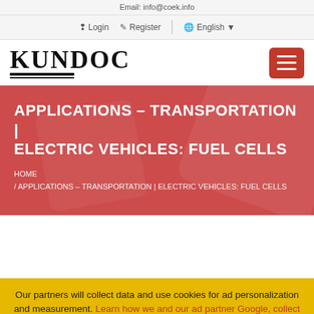Email: info@coek.info
Login  Register  English
[Figure (logo): KUNDOC logo with bold serif text and double underline]
APPLICATIONS – TRANSPORTATION | ELECTRIC VEHICLES: FUEL CELLS
HOME / APPLICATIONS – TRANSPORTATION | ELECTRIC VEHICLES: FUEL CELLS
Our partners will collect data and use cookies for ad personalization and measurement. Learn how we and our ad partner Google, collect and use data. Agree & close